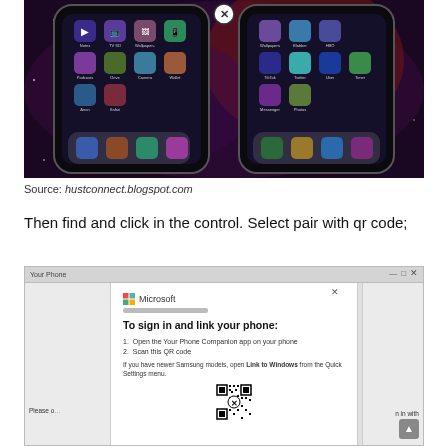[Figure (screenshot): Two iPhone home screens side by side showing app icons on a dark space/galaxy themed wallpaper. A close/cancel (X) button is visible at the top center between the two screens.]
Source: hustconnect.blogspot.com
Then find and click in the control. Select pair with qr code;
[Figure (screenshot): Screenshot of a Windows 'Your Phone' app with a Microsoft dialog overlay. The dialog says 'To sign in and link your phone:' with steps: 1. Open the Your Phone Companion app on your phone, 2. Scan this QR code. It also says 'If you have newer Samsung models, open Link to Windows from the Quick Settings menu.' A QR code is shown at the bottom of the dialog. Partial text at the bottom reads 'Please o... n in with']